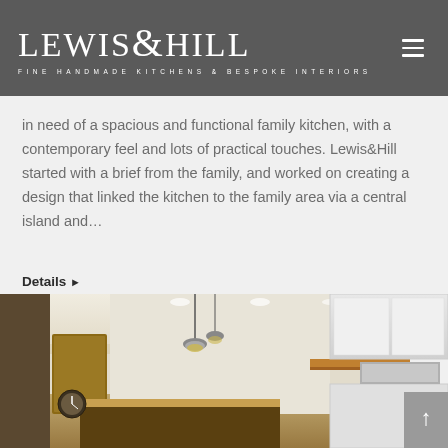LEWIS&HILL — FINE HANDMADE KITCHENS & BESPOKE INTERIORS
in need of a spacious and functional family kitchen, with a contemporary feel and lots of practical touches. Lewis&Hill started with a brief from the family, and worked on creating a design that linked the kitchen to the family area via a central island and…
Details ▶
[Figure (photo): Interior photo of a modern kitchen showing pendant lighting, an island, white cabinetry, and recessed ceiling lights]